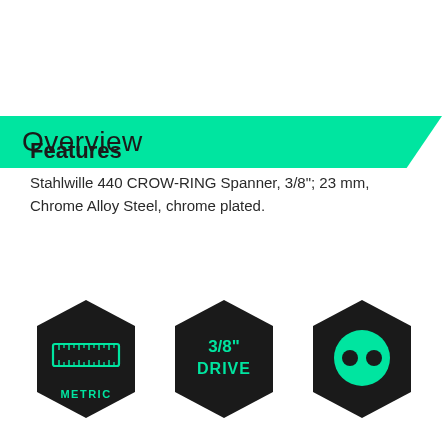Overview
Features
Stahlwille 440 CROW-RING Spanner, 3/8"; 23 mm, Chrome Alloy Steel, chrome plated.
[Figure (infographic): Three black hexagon icons: 1) Ruler icon with 'METRIC' label in green text, 2) '3/8" DRIVE' text in green on black hexagon, 3) Green circle face icon on black hexagon (crow-ring spanner end)]